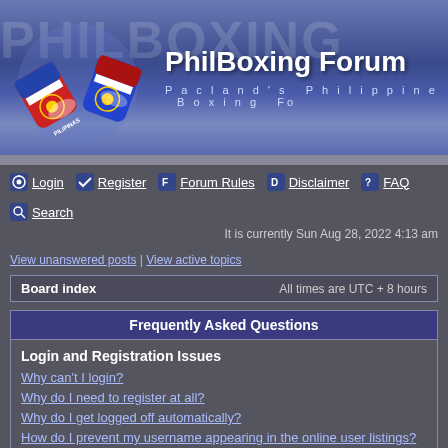[Figure (illustration): PhilBoxing Forum banner with Philippine boxing gloves logo and site title 'PhilBoxing Forum' and subtitle 'Pacland's Philippine Boxing Fo...']
Login | Register | Forum Rules | Disclaimer | FAQ | Search
It is currently Sun Aug 28, 2022 4:13 am
View unanswered posts | View active topics
Board index   All times are UTC + 8 hours
Frequently Asked Questions
Login and Registration Issues
Why can't I login?
Why do I need to register at all?
Why do I get logged off automatically?
How do I prevent my username appearing in the online user listings?
I've lost my password!
I registered but cannot login!
I registered in the past but cannot login any more?!
What is COPPA?